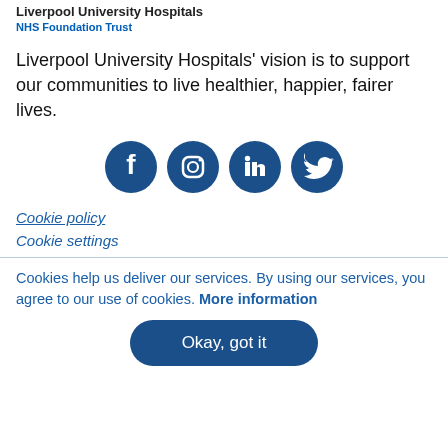Liverpool University Hospitals
NHS Foundation Trust
Liverpool University Hospitals' vision is to support our communities to live healthier, happier, fairer lives.
[Figure (infographic): Four dark blue circular social media icons: Facebook, Instagram, LinkedIn, Twitter]
Cookie policy
Cookie settings
Cookies help us deliver our services. By using our services, you agree to our use of cookies. More information
Okay, got it